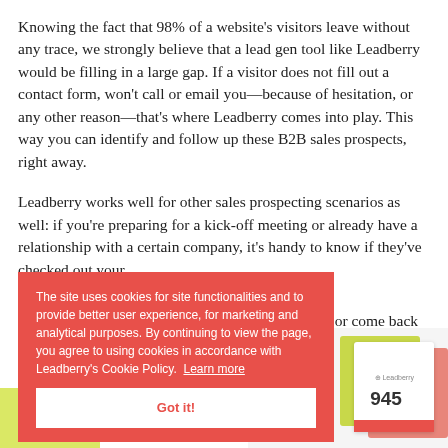Knowing the fact that 98% of a website's visitors leave without any trace, we strongly believe that a lead gen tool like Leadberry would be filling in a large gap. If a visitor does not fill out a contact form, won't call or email you—because of hesitation, or any other reason—that's where Leadberry comes into play. This way you can identify and follow up these B2B sales prospects, right away.
Leadberry works well for other sales prospecting scenarios as well: if you're preparing for a kick-off meeting or already have a relationship with a certain company, it's handy to know if they've checked out your [website], or come back from
The site uses cookies for site functionalities and to provide better user experience, for marketing and analytical purposes. By continuing to view the page, you agree to using cookies in accordance with Leadberry's Cookie Policy. Learn more
Got it!
[Figure (screenshot): Partial screenshot of Leadberry dashboard showing a card with number 945 and a red button/bar at the bottom, with green and pink card layers behind it.]